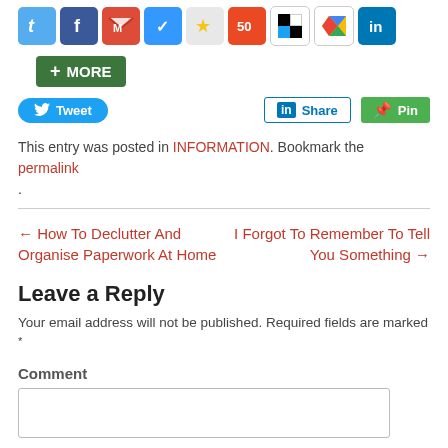[Figure (screenshot): Row of social sharing icon buttons: Twitter, Facebook, Gmail, Delicious, Favorites, StumbleUpon, Square, Google+, LinkedIn]
[Figure (screenshot): Green +MORE button]
[Figure (screenshot): Tweet button (blue), LinkedIn Share button, and Pin button (green)]
This entry was posted in INFORMATION. Bookmark the permalink.
← How To Declutter And Organise Paperwork At Home    I Forgot To Remember To Tell You Something →
Leave a Reply
Your email address will not be published. Required fields are marked *
Comment